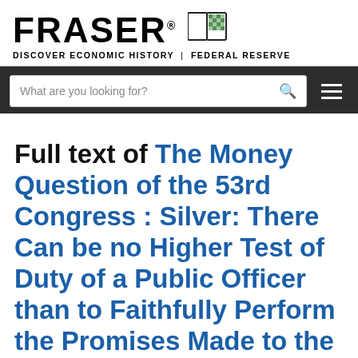FRASER® — DISCOVER ECONOMIC HISTORY | FEDERAL RESERVE
Full text of The Money Question of the 53rd Congress : Silver: There Can be no Higher Test of Duty of a Public Officer than to Faithfully Perform the Promises Made to the People :